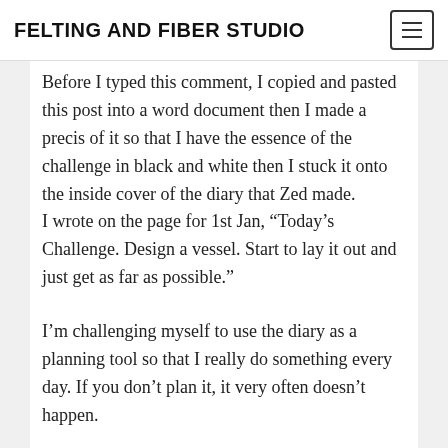FELTING AND FIBER STUDIO
Before I typed this comment, I copied and pasted this post into a word document then I made a precis of it so that I have the essence of the challenge in black and white then I stuck it onto the inside cover of the diary that Zed made. I wrote on the page for 1st Jan, “Today’s Challenge. Design a vessel. Start to lay it out and just get as far as possible.”
I’m challenging myself to use the diary as a planning tool so that I really do something every day. If you don’t plan it, it very often doesn’t happen.